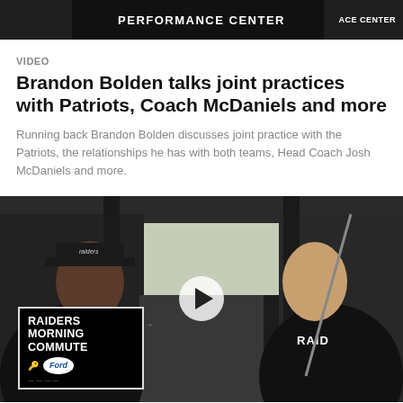[Figure (photo): Top strip showing two people in dark athletic wear with 'PERFORMANCE CENTER' text in the center and 'ACE CENTER' partially visible on the right, dark background]
VIDEO
Brandon Bolden talks joint practices with Patriots, Coach McDaniels and more
Running back Brandon Bolden discusses joint practice with the Patriots, the relationships he has with both teams, Head Coach Josh McDaniels and more.
[Figure (screenshot): Video thumbnail showing two men seated in a car interior against dark background. Left person wearing Raiders hat and black shirt, right person wearing Raiders black shirt. Center shows play button. Bottom-left overlay card reads RAIDERS MORNING COMMUTE with Ford logo.]